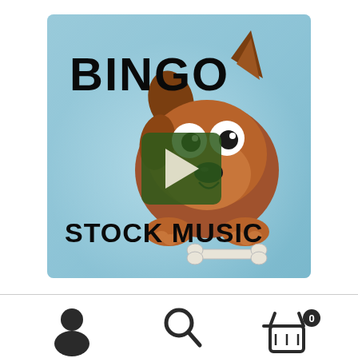[Figure (illustration): Album art for 'Bingo Stock Music' featuring a cartoon brown dog holding a bone, with a blue gradient background, text 'BINGO' at top left and 'STOCK MUSIC' at bottom left in bold black handwritten font, and a green play button overlay in the center.]
[Figure (illustration): Bottom navigation bar with three icons: a person/user icon on the left, a magnifying glass/search icon in the center, and a shopping basket/cart icon with a '0' badge on the right.]